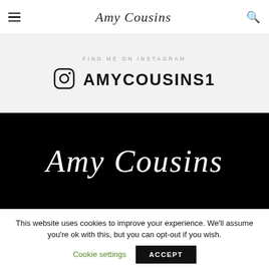Amy Cousins
FIND ME ON INSTAGRAM
AMYCOUSINS1
[Figure (logo): Amy Cousins script logo in white on black background]
This website uses cookies to improve your experience. We'll assume you're ok with this, but you can opt-out if you wish. Cookie settings ACCEPT